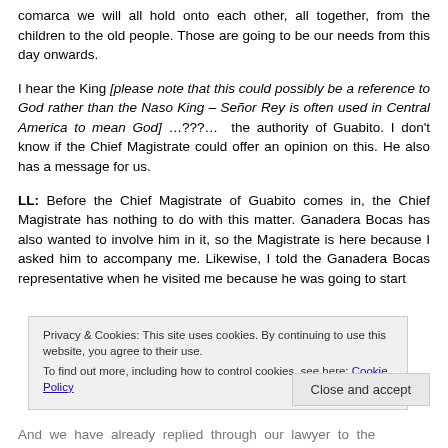comarca we will all hold onto each other, all together, from the children to the old people. Those are going to be our needs from this day onwards.
I hear the King [please note that this could possibly be a reference to God rather than the Naso King – Señor Rey is often used in Central America to mean God] …???… the authority of Guabito. I don't know if the Chief Magistrate could offer an opinion on this. He also has a message for us.
LL: Before the Chief Magistrate of Guabito comes in, the Chief Magistrate has nothing to do with this matter. Ganadera Bocas has also wanted to involve him in it, so the Magistrate is here because I asked him to accompany me. Likewise, I told the Ganadera Bocas representative when he visited me because he was going to start
Privacy & Cookies: This site uses cookies. By continuing to use this website, you agree to their use. To find out more, including how to control cookies, see here: Cookie Policy
And we have already replied through our lawyer to the